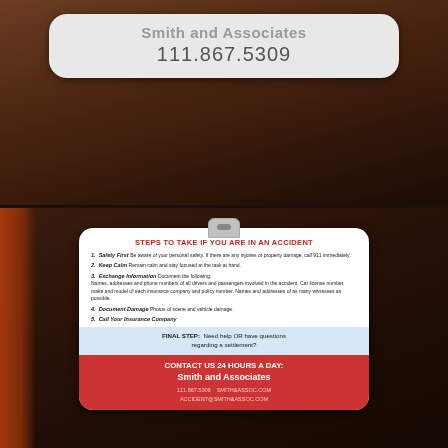[Figure (photo): Photo of top side of a plastic card holder/badge showing 'Smith and Associates' agency name and phone number 111.867.5309 on a white card insert, placed on a dark wood surface.]
[Figure (photo): Photo of the back of a plastic card holder showing an insurance accident instruction card with steps to take if in an accident, contact info for Smith and Associates, phone 111.867.5309, websites SMITH&ASSOC.COM and ACCIDENT@SMITH&ASSOC.COM, placed on a dark surface with orange fabric.]
STEPS TO TAKE IF YOU ARE IN AN ACCIDENT
1. Safety First Be aware of your personal safety. If there are any injuries or property damage, call 911 immediately.
2. Keep Calm Remain calm and stay focused at the task at hand.
3. Exchange Information Document the following: Names, addresses and phone numbers of all drivers and passengers involved in the accident. Car license number, make and model of each insurance company and policy number. Names and addresses of as many witnesses as possible.
4. Document Damage Photos of scene and vehicle damage.
5. Call Your Insurance Company
FINAL STEP: Need help OR have questions regarding a settlement?
CONTACT US 24 HOURS A DAY: Smith and Associates
111.867.5309   SMITH&ASSOC.COM
ACCIDENT@SMITH&ASSOC.COM